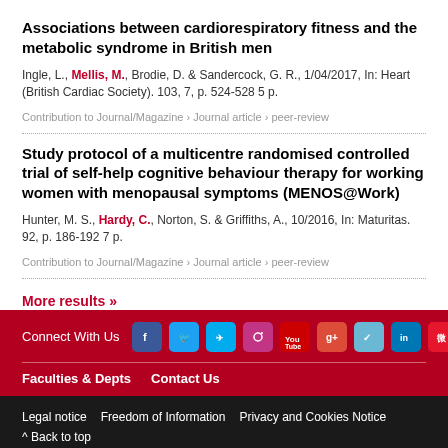Associations between cardiorespiratory fitness and the metabolic syndrome in British men
Ingle, L., Mellis, M., Brodie, D. & Sandercock, G. R., 1/04/2017, In: Heart (British Cardiac Society). 103, 7, p. 524-528 5 p.
Contribution to Journal/Magazine › Journal article › peer-review
Study protocol of a multicentre randomised controlled trial of self-help cognitive behaviour therapy for working women with menopausal symptoms (MENOS@Work)
Hunter, M. S., Hardy, C., Norton, S. & Griffiths, A., 10/2016, In: Maturitas. 92, p. 186-192 7 p.
Contribution to Journal/Magazine › Journal article › peer-review
More results »
Connect With Us | Faculties & Depts | Contact Us | Legal notice | Freedom of Information | Privacy and Cookies Notice | ^ Back to top | Copyright © 2006-2016 Lancaster University